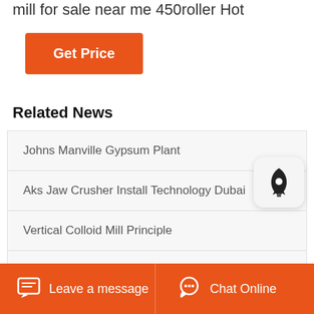mill for sale near me 450roller Hot
Get Price
Related News
Johns Manville Gypsum Plant
Aks Jaw Crusher Install Technology Dubai
Vertical Colloid Mill Principle
1400X400mm Bed Type Milling Machine
Leave a message   Chat Online